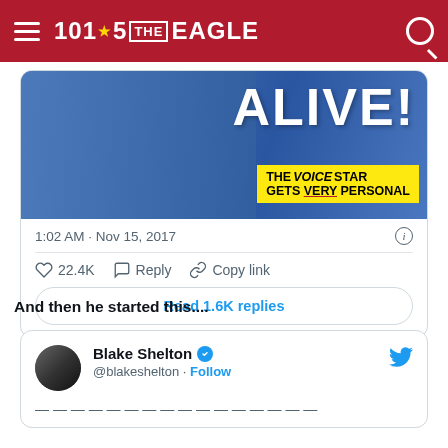101.5 THE EAGLE
[Figure (screenshot): Magazine cover with 'ALIVE!' text and yellow banner reading 'THE VOICE STAR GETS VERY PERSONAL']
1:02 AM · Nov 15, 2017
22.4K  Reply  Copy link
Read 1.6K replies
And then he started this....
Blake Shelton @blakeshelton · Follow